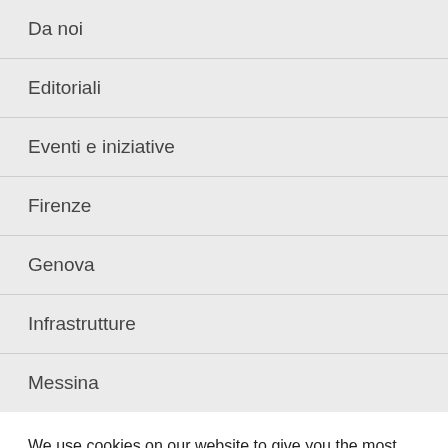Da noi
Editoriali
Eventi e iniziative
Firenze
Genova
Infrastrutture
Messina
We use cookies on our website to give you the most relevant experience by remembering your preferences and repeat visits. By clicking "Accept All", you consent to the use of ALL the cookies. However, you may visit "Cookie Settings" to provide a controlled consent.